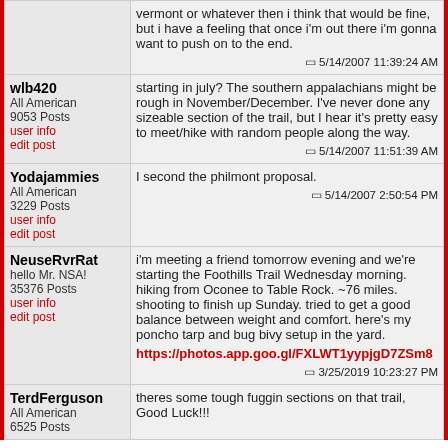vermont or whatever then i think that would be fine, but i have a feeling that once i'm out there i'm gonna want to push on to the end.
5/14/2007 11:39:24 AM
wlb420
All American
9053 Posts
user info
edit post
starting in july? The southern appalachians might be rough in November/December. I've never done any sizeable section of the trail, but I hear it's pretty easy to meet/hike with random people along the way.
5/14/2007 11:51:39 AM
Yodajammies
All American
3229 Posts
user info
edit post
I second the philmont proposal.
5/14/2007 2:50:54 PM
NeuseRvrRat
hello Mr. NSA!
35376 Posts
user info
edit post
i'm meeting a friend tomorrow evening and we're starting the Foothills Trail Wednesday morning. hiking from Oconee to Table Rock. ~76 miles. shooting to finish up Sunday. tried to get a good balance between weight and comfort. here's my poncho tarp and bug bivy setup in the yard.
https://photos.app.goo.gl/FXLWT1yypjgD7ZSm8
3/25/2019 10:23:27 PM
TerdFerguson
All American
6525 Posts
theres some tough fuggin sections on that trail, Good Luck!!!